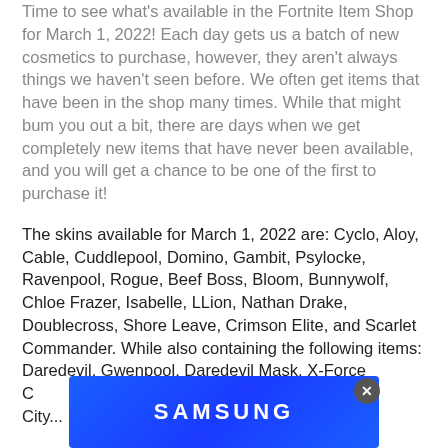Time to see what's available in the Fortnite Item Shop for March 1, 2022! Each day gets us a batch of new cosmetics to purchase, however, they aren't always things we haven't seen before. We often get items that have been in the shop many times. While that might bum you out a bit, there are days when we get completely new items that have never been available, and you will get a chance to be one of the first to purchase it!
The skins available for March 1, 2022 are: Cyclo, Aloy, Cable, Cuddlepool, Domino, Gambit, Psylocke, Ravenpool, Rogue, Beef Boss, Bloom, Bunnywolf, Chloe Frazer, Isabelle, LLion, Nathan Drake, Doublecross, Shore Leave, Crimson Elite, and Scarlet Commander. While also containing the following items: Daredevil, Gwenpool, Daredevil Mask, X-Force C... r, City...
[Figure (other): Samsung advertisement banner in blue gradient]